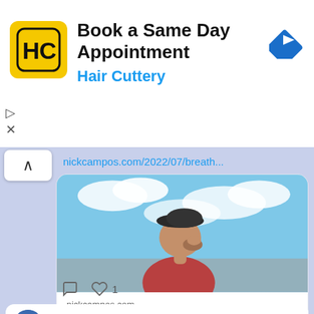[Figure (screenshot): Hair Cuttery advertisement banner with yellow logo, title 'Book a Same Day Appointment', blue subtitle 'Hair Cuttery', and a blue navigation arrow icon on the right.]
nickcampos.com/2022/07/breath...
[Figure (photo): Preview card from nickcampos.com showing a man in a red shirt and dark cap looking upward against a cloudy sky background. Below the image: domain 'nickcampos.com' and title 'Breath is Life: The Power of Life's Most Vital Energy Mover - Dr. Nick ...']
1
Nick Campos @DrNickCampos · 2h